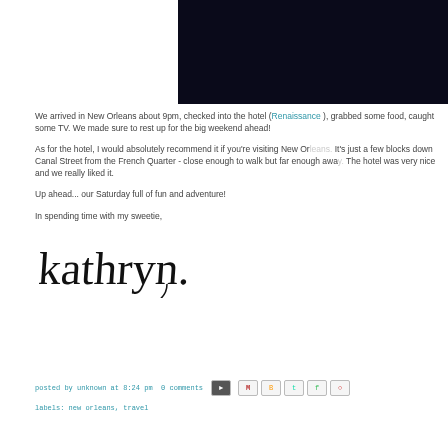[Figure (photo): Dark/black rectangular image block, cropped at top-right of the visible page area]
We arrived in New Orleans about 9pm, checked into the hotel (Renaissance) ... some TV. We made sure to rest up for the big weekend ahead!
As for the hotel, I would absolutely recommend it if you're visiting New Orleans. Street from the French Quarter - close enough to walk but far enough away. The hotel was very nice and we really liked it.
Up ahead... our Saturday full of fun and adventure!
In spending time with my sweetie,
[Figure (illustration): Handwritten cursive signature reading 'kathryn.']
posted by unknown at 8:24 pm  0 comments   labels: new orleans, travel